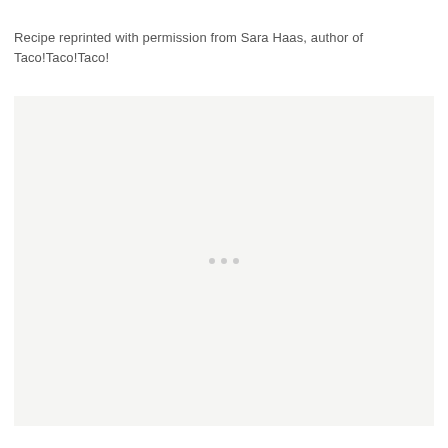Recipe reprinted with permission from Sara Haas, author of Taco!Taco!Taco!
[Figure (photo): A large light gray placeholder image area with three small dots centered in the middle, indicating a loading or placeholder state for a food photo.]